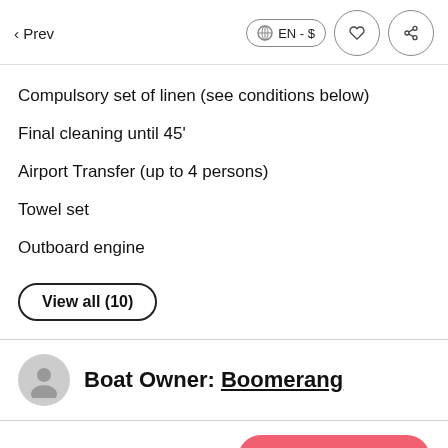< Prev | EN - $ | ♡ | share
Compulsory set of linen (see conditions below)
Final cleaning until 45'
Airport Transfer (up to 4 persons)
Towel set
Outboard engine
View all (10)
Boat Owner: Boomerang
Price is not available.
Check Availability